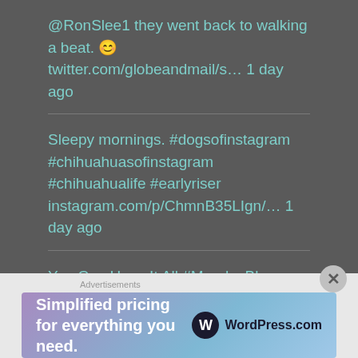@RonSlee1 they went back to walking a beat. 😊 twitter.com/globeandmail/s… 1 day ago
Sleepy mornings. #dogsofinstagram #chihuahuasofinstagram #chihuahualife #earlyriser instagram.com/p/ChmnB35LIgn/… 1 day ago
You Can Have It All #MondayBlogs bellesmots.com/2022/08/22/you… 2 days ago
Morning is filled ~ deadlines and demands ~ sounding alarms to keep me on pace - Caroline A. Slee #micropoetry #poetrycommunity 2 days ago
Advertisements
[Figure (screenshot): WordPress.com advertisement banner: 'Simplified pricing for everything you need.' with WordPress.com logo on gradient purple-blue background]